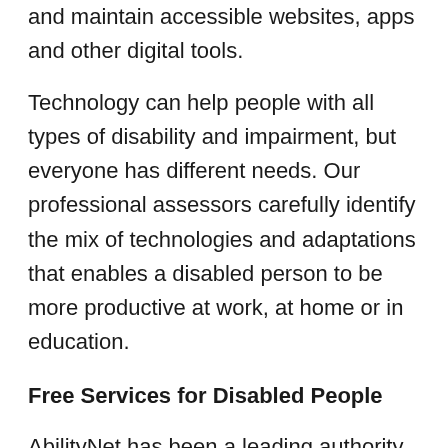and maintain accessible websites, apps and other digital tools.
Technology can help people with all types of disability and impairment, but everyone has different needs. Our professional assessors carefully identify the mix of technologies and adaptations that enables a disabled person to be more productive at work, at home or in education.
Free Services for Disabled People
AbilityNet has been a leading authority on accessibility and assistive technologies for 20 years and we contnue to provide a range of free services for disabled people, their family and friends, their employers and other people who care for them